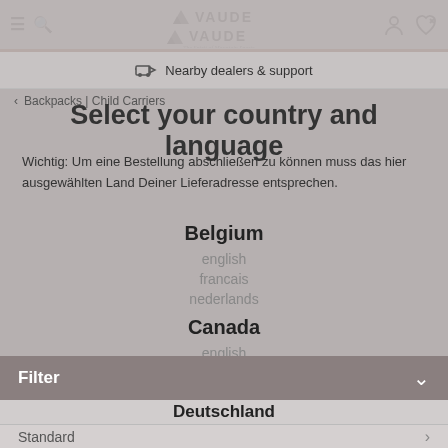VAUDE - The Spirit of Mountain Sports
Nearby dealers & support
Backpacks | Child Carriers
Select your country and language
Wichtig: Um eine Bestellung abschließen zu können muss das hier ausgewählten Land Deiner Lieferadresse entsprechen.
Belgium
english
francais
nederlands
Canada
english
francais
Deutschland
Filter
Standard